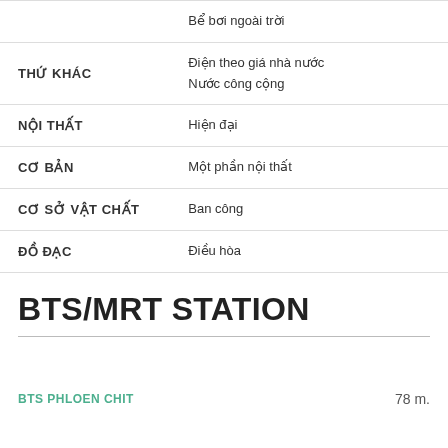| Bể bơi ngoài trời |  |
| THỨ KHÁC | Điện theo giá nhà nước
Nước công cộng |
| NỘI THẤT | Hiện đại |
| CƠ BẢN | Một phần nội thất |
| CƠ SỞ VẬT CHẤT | Ban công |
| ĐỒ ĐẠC | Điều hòa |
BTS/MRT STATION
BTS PHLOEN CHIT    78 m.